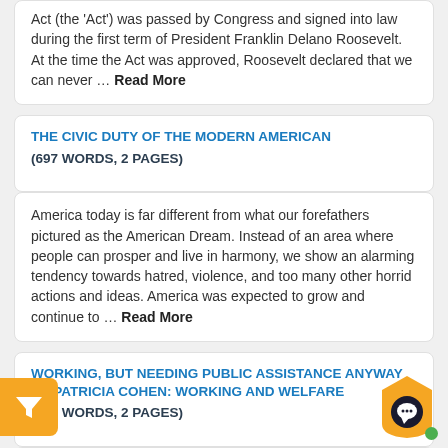Act (the 'Act') was passed by Congress and signed into law during the first term of President Franklin Delano Roosevelt. At the time the Act was approved, Roosevelt declared that we can never … Read More
THE CIVIC DUTY OF THE MODERN AMERICAN (697 WORDS, 2 PAGES)
America today is far different from what our forefathers pictured as the American Dream. Instead of an area where people can prosper and live in harmony, we show an alarming tendency towards hatred, violence, and too many other horrid actions and ideas. America was expected to grow and continue to … Read More
WORKING, BUT NEEDING PUBLIC ASSISTANCE ANYWAY BY PATRICIA COHEN: WORKING AND WELFARE (484 WORDS, 2 PAGES)
Working, but Needing Public Assistance Anyway by Patricia Cohen, another view on government welfare